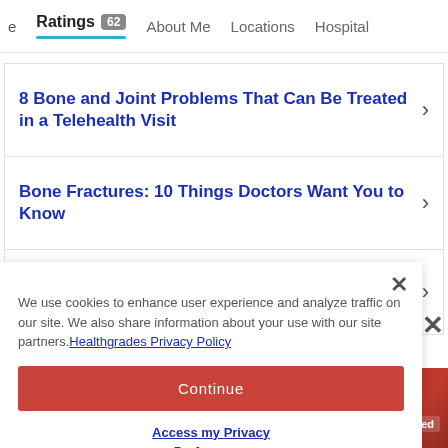Ratings 62  About Me  Locations  Hospital
8 Bone and Joint Problems That Can Be Treated in a Telehealth Visit
Bone Fractures: 10 Things Doctors Want You to Know
Types of Knee Pain and What They Could
We use cookies to enhance user experience and analyze traffic on our site. We also share information about your use with our site partners. Healthgrades Privacy Policy
Continue
Access my Privacy Preferences